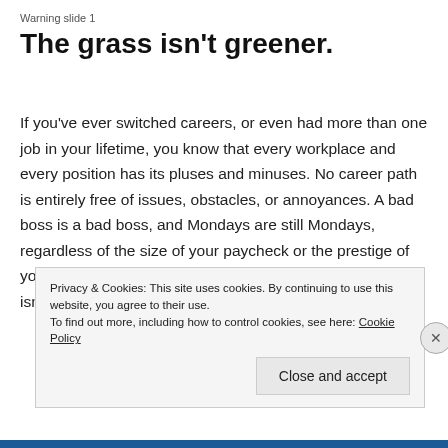Warning slide 1
The grass isn't greener.
If you've ever switched careers, or even had more than one job in your lifetime, you know that every workplace and every position has its pluses and minuses. No career path is entirely free of issues, obstacles, or annoyances. A bad boss is a bad boss, and Mondays are still Mondays, regardless of the size of your paycheck or the prestige of your title. Whether your collar is white or blue, the grass isn't any greener on the other side.
Privacy & Cookies: This site uses cookies. By continuing to use this website, you agree to their use.
To find out more, including how to control cookies, see here: Cookie Policy
Close and accept